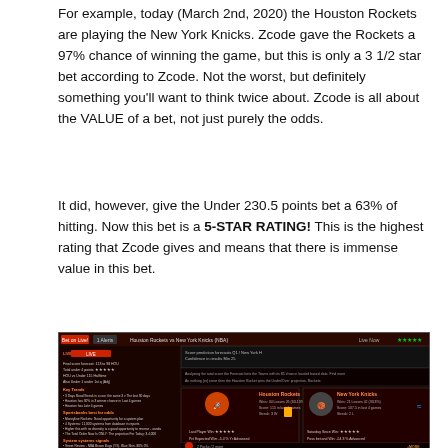For example, today (March 2nd, 2020) the Houston Rockets are playing the New York Knicks. Zcode gave the Rockets a 97% chance of winning the game, but this is only a 3 1/2 star bet according to Zcode. Not the worst, but definitely something you'll want to think twice about. Zcode is all about the VALUE of a bet, not just purely the odds.
It did, however, give the Under 230.5 points bet a 63% of hitting. Now this bet is a 5-STAR RATING! This is the highest rating that Zcode gives and means that there is immense value in this bet.
[Figure (screenshot): Screenshot of Zcode sports betting platform showing Houston Rockets vs New York Knicks game analysis with team statistics, star ratings, and betting information on a dark red/black themed interface.]